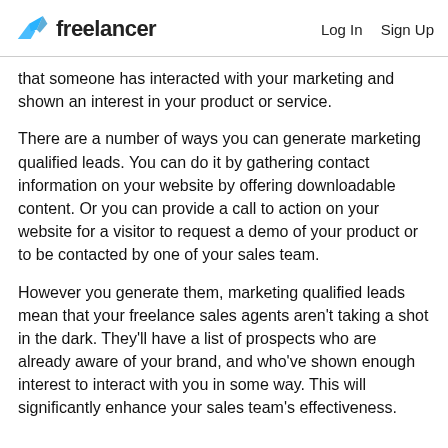freelancer  Log In  Sign Up
that someone has interacted with your marketing and shown an interest in your product or service.
There are a number of ways you can generate marketing qualified leads. You can do it by gathering contact information on your website by offering downloadable content. Or you can provide a call to action on your website for a visitor to request a demo of your product or to be contacted by one of your sales team.
However you generate them, marketing qualified leads mean that your freelance sales agents aren't taking a shot in the dark. They'll have a list of prospects who are already aware of your brand, and who've shown enough interest to interact with you in some way. This will significantly enhance your sales team's effectiveness.